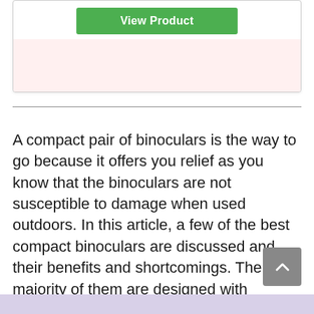[Figure (screenshot): Green 'View Product' button inside a white card with a pink/light-red background area below it]
A compact pair of binoculars is the way to go because it offers you relief as you know that the binoculars are not susceptible to damage when used outdoors. In this article, a few of the best compact binoculars are discussed and their benefits and shortcomings. The majority of them are designed with advanced technology that is included to make them ideal for use and to provide top performance all through your experience with them.